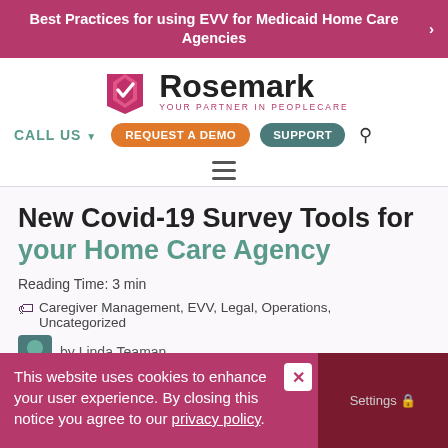Best Practices for using EVV for Medicaid Home Care Agencies
[Figure (logo): Rosemark logo with tagline Your Partner in PeopleCare]
CALL US   REQUEST A DEMO   SUPPORT
[Figure (other): Hamburger menu icon]
New Covid-19 Survey Tools for your Home Care Agency
Reading Time: 3 min
Caregiver Management, EVV, Legal, Operations, Uncategorized
by Linda Teaman
This website uses cookies to enhance your user experience. By closing this notice you agree to our privacy policy.